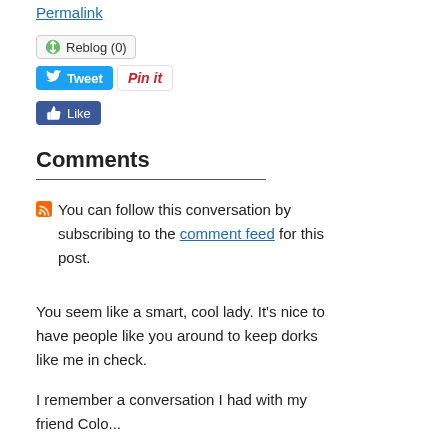Permalink
[Figure (screenshot): Reblog (0) button with green recycle icon]
[Figure (screenshot): Tweet button (blue), Pin it button (white/red), Like button (blue Facebook)]
Comments
You can follow this conversation by subscribing to the comment feed for this post.
You seem like a smart, cool lady. It's nice to have people like you around to keep dorks like me in check.
I remember a conversation I had with my friend Colo...